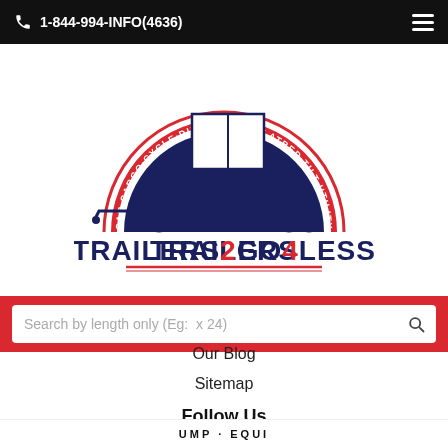1-844-994-INFO(4636)
[Figure (logo): Trailers2Go4Less logo with trailer illustration and text CAR-CARGO-CYCLE-DUMP-EQUIP-FLATBED-TILT-UTILITY in an arc above the brand name TRAILERS2GO4LESS]
Search by length only (Eg: x 24)
Our Blog
Sitemap
Follow Us
[Figure (illustration): Social media icons: Facebook, Twitter, Instagram, YouTube]
UMP · EQUI